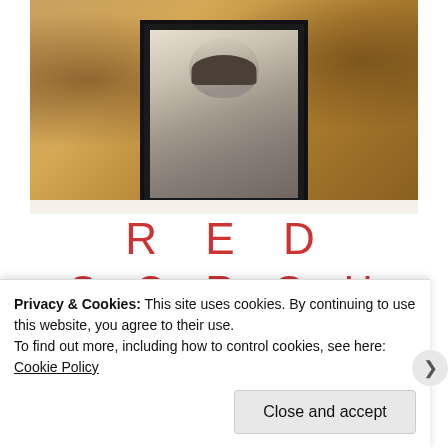[Figure (photo): Book cover of 'Red Sorghum' by Mo Yan. Top portion shows a sepia/amber-toned background scene with figures. A black-framed portrait photograph of a young Asian woman is centered on the cover. Below in red spaced letters: 'RED' then 'SORGHUM'. A small italic subtitle line follows. Then spaced letters beginning 'M O Y A N' (author name) at the bottom.]
Privacy & Cookies: This site uses cookies. By continuing to use this website, you agree to their use.
To find out more, including how to control cookies, see here: Cookie Policy
Close and accept